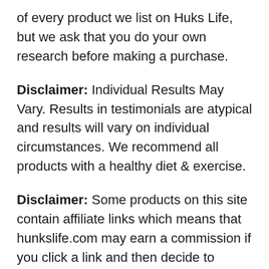of every product we list on Huks Life, but we ask that you do your own research before making a purchase.
Disclaimer: Individual Results May Vary. Results in testimonials are atypical and results will vary on individual circumstances. We recommend all products with a healthy diet & exercise.
Disclaimer: Some products on this site contain affiliate links which means that hunkslife.com may earn a commission if you click a link and then decide to purchase particular products.